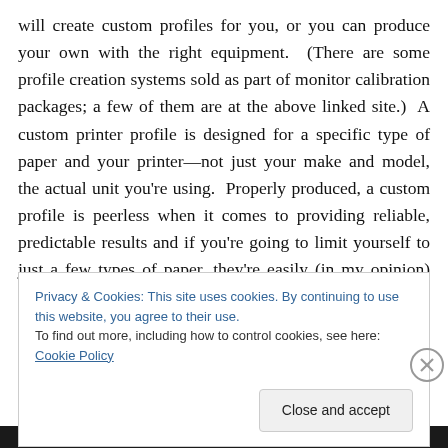will create custom profiles for you, or you can produce your own with the right equipment. (There are some profile creation systems sold as part of monitor calibration packages; a few of them are at the above linked site.) A custom printer profile is designed for a specific type of paper and your printer—not just your make and model, the actual unit you're using. Properly produced, a custom profile is peerless when it comes to providing reliable, predictable results and if you're going to limit yourself to just a few types of paper, they're easily (in my opinion) worth the modest expense of purchasing one. If you use a
Privacy & Cookies: This site uses cookies. By continuing to use this website, you agree to their use.
To find out more, including how to control cookies, see here: Cookie Policy
Close and accept